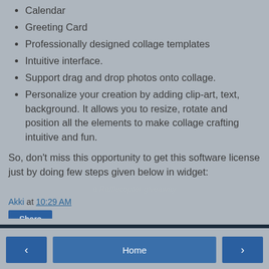Calendar
Greeting Card
Professionally designed collage templates
Intuitive interface.
Support drag and drop photos onto collage.
Personalize your creation by adding clip-art, text, background. It allows you to resize, rotate and position all the elements to make collage crafting intuitive and fun.
So, don't miss this opportunity to get this software license just by doing few steps given below in widget:
a Rafflecopter giveaway
Akki at 10:29 AM
Share
◄  Home  ►